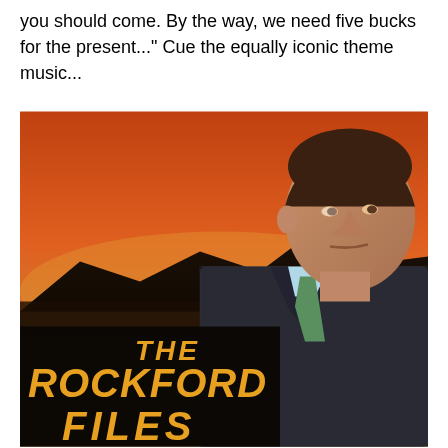you should come. By the way, we need five bucks for the present..." Cue the equally iconic theme music...
[Figure (photo): The Rockford Files TV show promotional image showing a man in a plaid jacket and blue tie against an orange/sunset desert background, with the large yellow text 'THE ROCKFORD FILES' in the lower left foreground.]